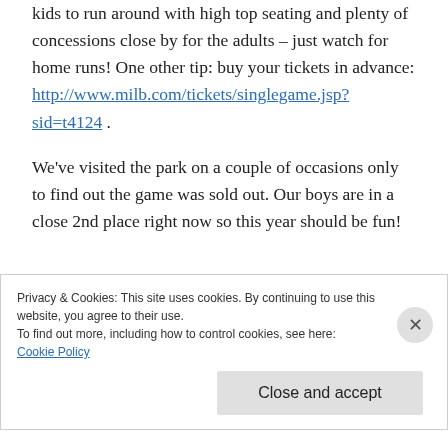kids to run around with high top seating and plenty of concessions close by for the adults – just watch for home runs! One other tip: buy your tickets in advance: http://www.milb.com/tickets/singlegame.jsp?sid=t4124 .
We've visited the park on a couple of occasions only to find out the game was sold out. Our boys are in a close 2nd place right now so this year should be fun!
Privacy & Cookies: This site uses cookies. By continuing to use this website, you agree to their use.
To find out more, including how to control cookies, see here:
Cookie Policy
Close and accept